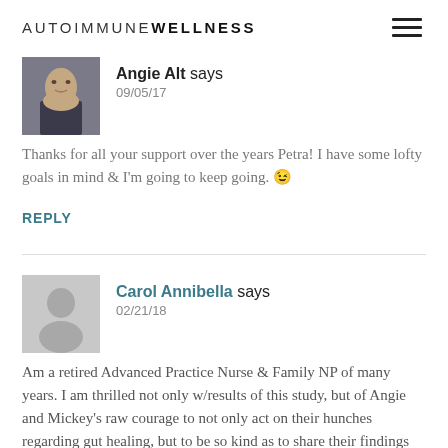AUTOIMMUNE WELLNESS
[Figure (photo): Profile photo of Angie Alt, a woman with brown hair]
Angie Alt says
09/05/17
Thanks for all your support over the years Petra! I have some lofty goals in mind & I'm going to keep going. 😉
REPLY
[Figure (illustration): Generic user avatar placeholder (gray silhouette)]
Carol Annibella says
02/21/18
Am a retired Advanced Practice Nurse & Family NP of many years. I am thrilled not only w/results of this study, but of Angie and Mickey's raw courage to not only act on their hunches regarding gut healing, but to be so kind as to share their findings w/others still